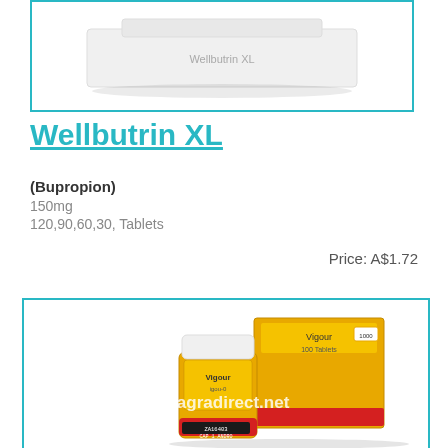[Figure (photo): Product photo of Wellbutrin XL pill box/packaging in white, top portion visible inside a teal-bordered frame]
Wellbutrin XL
(Bupropion)
150mg
120,90,60,30, Tablets
Price: A$1.72
[Figure (photo): Product photo of Vigour gold/yellow pill bottle and box with red stripe at bottom, watermarked with viagradirect.net]